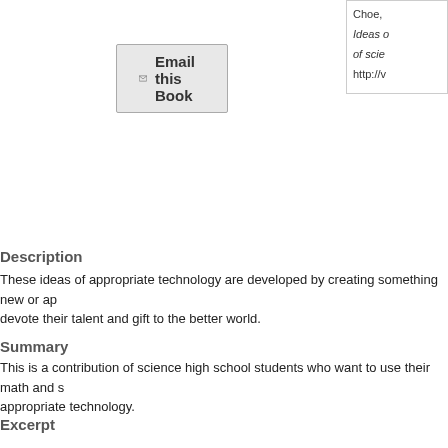Email this Book
Choe,
Ideas o
of scie
http://v
Description
These ideas of appropriate technology are developed by creating something new or ap devote their talent and gift to the better world.
Summary
This is a contribution of science high school students who want to use their math and s appropriate technology.
Excerpt